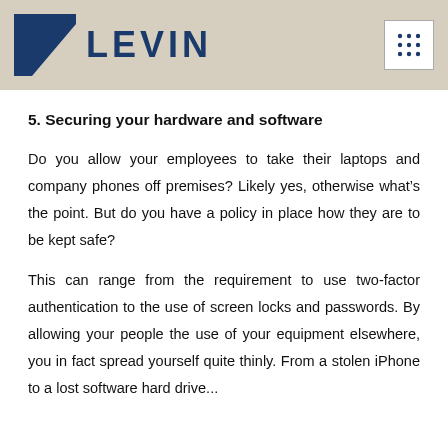LEVIN
5. Securing your hardware and software
Do you allow your employees to take their laptops and company phones off premises? Likely yes, otherwise what’s the point. But do you have a policy in place how they are to be kept safe?
This can range from the requirement to use two-factor authentication to the use of screen locks and passwords. By allowing your people the use of your equipment elsewhere, you in fact spread yourself quite thinly. From a stolen iPhone to a lost software hard drive...